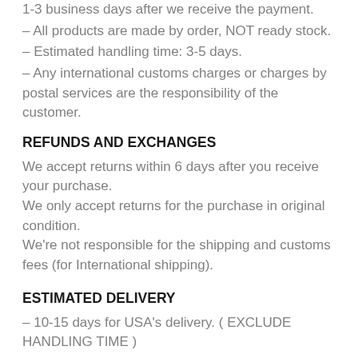1-3 business days after we receive the payment.
– All products are made by order, NOT ready stock.
– Estimated handling time: 3-5 days.
– Any international customs charges or charges by postal services are the responsibility of the customer.
REFUNDS AND EXCHANGES
We accept returns within 6 days after you receive your purchase.
We only accept returns for the purchase in original condition.
We're not responsible for the shipping and customs fees (for International shipping).
ESTIMATED DELIVERY
– 10-15 days for USA's delivery. ( EXCLUDE HANDLING TIME )